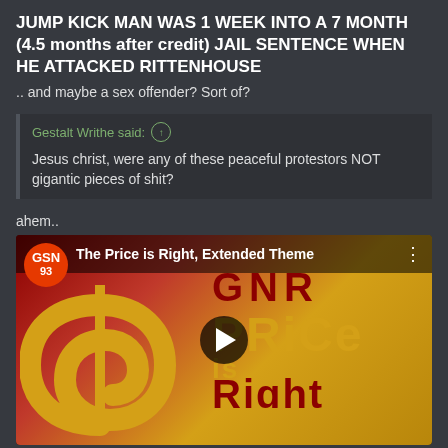JUMP KICK MAN WAS 1 WEEK INTO A 7 MONTH (4.5 months after credit) JAIL SENTENCE WHEN HE ATTACKED RITTENHOUSE
.. and maybe a sex offender? Sort of?
Gestalt Writhe said: ↑
Jesus christ, were any of these peaceful protestors NOT gigantic pieces of shit?
ahem..
[Figure (screenshot): YouTube video thumbnail for 'The Price is Right, Extended Theme' from GSN 93 channel, showing a dollar sign spiral and colorful 'Price is Right' logo text with a play button overlay.]